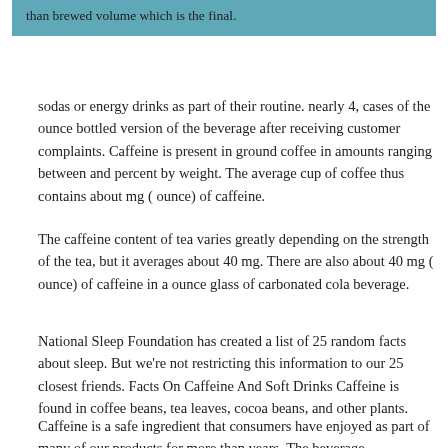than brewed volume which is the final.
sodas or energy drinks as part of their routine. nearly 4, cases of the ounce bottled version of the beverage after receiving customer complaints. Caffeine is present in ground coffee in amounts ranging between and percent by weight. The average cup of coffee thus contains about mg ( ounce) of caffeine.
The caffeine content of tea varies greatly depending on the strength of the tea, but it averages about 40 mg. There are also about 40 mg ( ounce) of caffeine in a ounce glass of carbonated cola beverage.
National Sleep Foundation has created a list of 25 random facts about sleep. But we're not restricting this information to our 25 closest friends. Facts On Caffeine And Soft Drinks Caffeine is found in coffee beans, tea leaves, cocoa beans, and other plants.
Caffeine is a safe ingredient that consumers have enjoyed as part of many of our products for more than years. The beverage